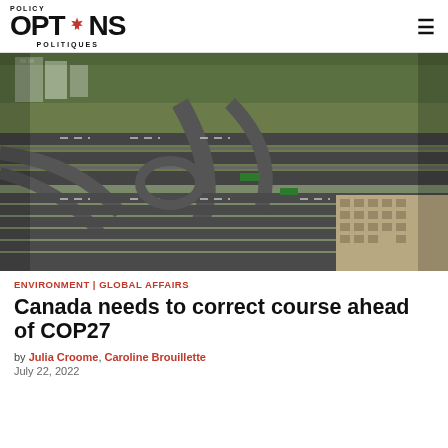POLICY OPTIONS POLITIQUES
[Figure (photo): Aerial photograph of a large multi-lane highway interchange with cloverleaf ramps, green areas, and a building complex in the lower right corner, taken in autumn.]
ENVIRONMENT | GLOBAL AFFAIRS
Canada needs to correct course ahead of COP27
by Julia Croome, Caroline Brouillette
July 22, 2022